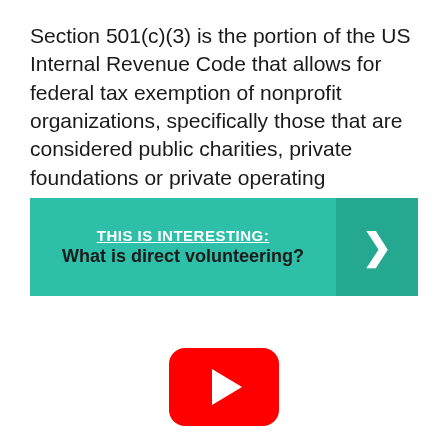Section 501(c)(3) is the portion of the US Internal Revenue Code that allows for federal tax exemption of nonprofit organizations, specifically those that are considered public charities, private foundations or private operating foundations.
[Figure (infographic): Teal/green banner with text 'THIS IS INTERESTING: What is direct volunteering?' and a right-arrow chevron button on the right side]
[Figure (illustration): Red YouTube play button icon (rounded rectangle with white triangle play arrow)]